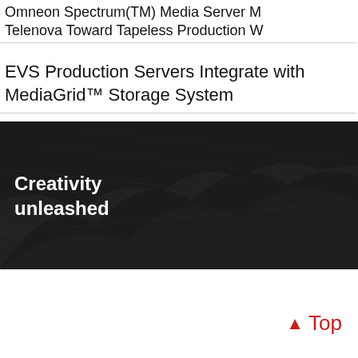Omneon Spectrum(TM) Media Server M
Telenova Toward Tapeless Production W
EVS Production Servers Integrate with
MediaGrid™ Storage System
[Figure (photo): Black and white rocky/mountainous landscape texture with white bold text reading 'Creativity unleashed' overlaid on the left side]
▲ Top